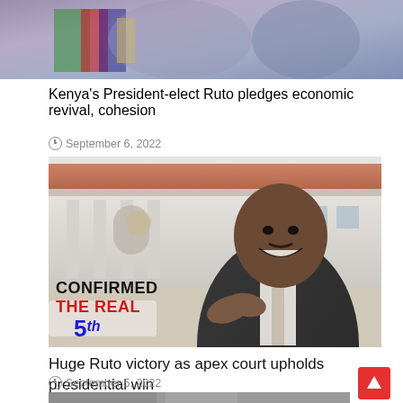[Figure (photo): Cropped top portion of a news article image, partially visible, appears to show people with colorful flags or banners]
Kenya's President-elect Ruto pledges economic revival, cohesion
September 6, 2022
[Figure (photo): Photo of William Ruto smiling with hands together in a prayer gesture, standing in front of a government building (State House). Overlay text reads: CONFIRMED THE REAL 5th]
Huge Ruto victory as apex court upholds presidential win
September 5, 2022
[Figure (photo): Bottom of page partially visible photo, appears to show a street scene with a vehicle]
[Figure (other): Red scroll-to-top button with upward arrow chevron]